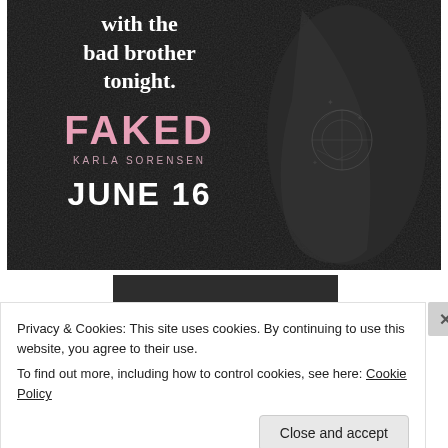[Figure (illustration): Book promotional image for 'FAKED' by Karla Sorensen on a dark background with a tattooed arm. Text reads 'with the bad brother tonight.' FAKED KARLA SORENSEN JUNE 16]
[Figure (illustration): Partial book cover or banner image with dark background and gold text reading 'MEET THE']
Privacy & Cookies: This site uses cookies. By continuing to use this website, you agree to their use.
To find out more, including how to control cookies, see here: Cookie Policy
Close and accept